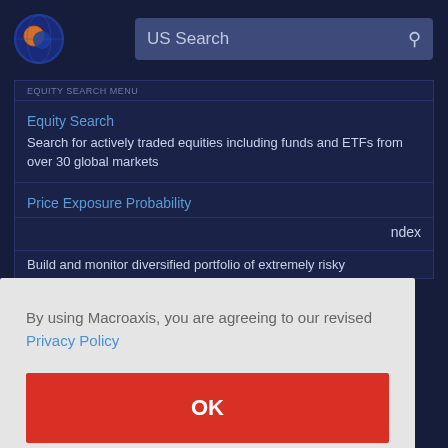[Figure (logo): Macroaxis logo - circular blue and orange globe icon]
US Search
EQUITY SEARCH MENU
Equity Search
Search for actively traded equities including funds and ETFs from over 30 global markets
Price Exposure Probability
ndex
Build and monitor diversified portfolio of extremely risky
By using Macroaxis, you are agreeing to our revised Privacy Policy
OK